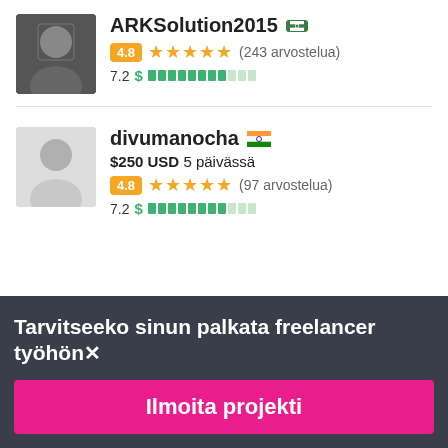ARKSolution2015 🇵🇰
4.8 ★★★★★ (243 arvostelua)
7.2 $ ████████░░░
divumanocha 🇮🇳
$250 USD 5 päivässä
4.8 ★★★★★ (97 arvostelua)
7.2 $ ████████░░░
Tarvitseeko sinun palkata freelancer työhön✕
Ilmoita projekti